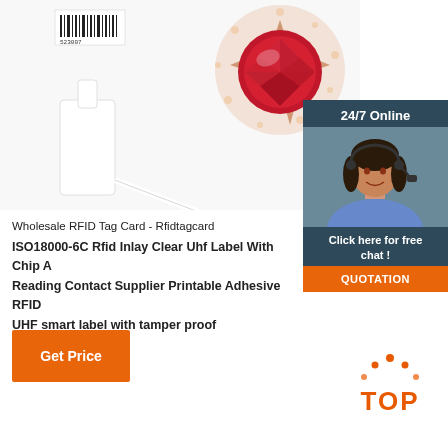[Figure (photo): RFID tag card white plastic label and jewelry with red gemstone on white background]
[Figure (infographic): 24/7 Online chat panel with woman agent wearing headset, Click here for free chat, QUOTATION button]
Wholesale RFID Tag Card - Rfidtagcard
ISO18000-6C Rfid Inlay Clear Uhf Label With Chip And Reading Contact Supplier Printable Adhesive RFID UHF smart label with tamper proof
Get Price
[Figure (logo): TOP logo with orange dot pattern above text]